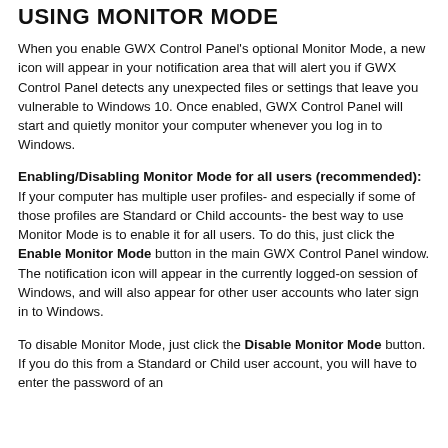USING MONITOR MODE
When you enable GWX Control Panel's optional Monitor Mode, a new icon will appear in your notification area that will alert you if GWX Control Panel detects any unexpected files or settings that leave you vulnerable to Windows 10. Once enabled, GWX Control Panel will start and quietly monitor your computer whenever you log in to Windows.
Enabling/Disabling Monitor Mode for all users (recommended):
If your computer has multiple user profiles- and especially if some of those profiles are Standard or Child accounts- the best way to use Monitor Mode is to enable it for all users. To do this, just click the Enable Monitor Mode button in the main GWX Control Panel window. The notification icon will appear in the currently logged-on session of Windows, and will also appear for other user accounts who later sign in to Windows.
To disable Monitor Mode, just click the Disable Monitor Mode button. If you do this from a Standard or Child user account, you will have to enter the password of an